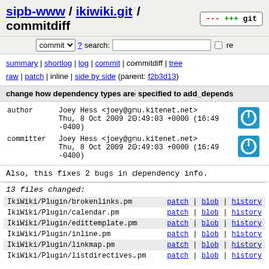sipb-www / ikiwiki.git / commitdiff
commit ? search: re
summary | shortlog | log | commit | commitdiff | tree
raw | patch | inline | side by side (parent: f2b3d13)
change how dependency types are specified to add_depends
| field | value | icon |
| --- | --- | --- |
| author | Joey Hess <joey@gnu.kitenet.net>
Thu, 8 Oct 2009 20:49:03 +0000 (16:49 -0400) | power icon |
| committer | Joey Hess <joey@gnu.kitenet.net>
Thu, 8 Oct 2009 20:49:03 +0000 (16:49 -0400) | power icon |
Also, this fixes 2 bugs in dependency info.
13 files changed:
IkiWiki/Plugin/brokenlinks.pm   patch | blob | history
IkiWiki/Plugin/calendar.pm   patch | blob | history
IkiWiki/Plugin/edittemplate.pm   patch | blob | history
IkiWiki/Plugin/inline.pm   patch | blob | history
IkiWiki/Plugin/linkmap.pm   patch | blob | history
IkiWiki/Plugin/listdirectives.pm   patch | blob | history